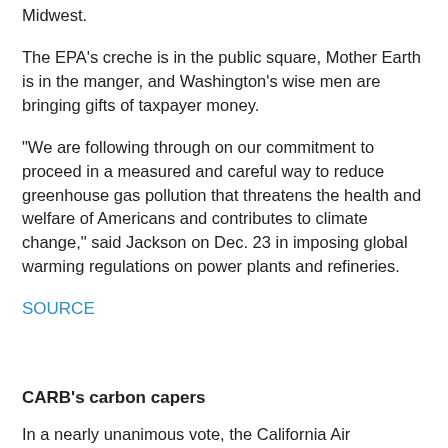Midwest.
The EPA's creche is in the public square, Mother Earth is in the manger, and Washington's wise men are bringing gifts of taxpayer money.
“We are following through on our commitment to proceed in a measured and careful way to reduce greenhouse gas pollution that threatens the health and welfare of Americans and contributes to climate change,” said Jackson on Dec. 23 in imposing global warming regulations on power plants and refineries.
SOURCE
CARB’s carbon capers
In a nearly unanimous vote, the California Air Resources